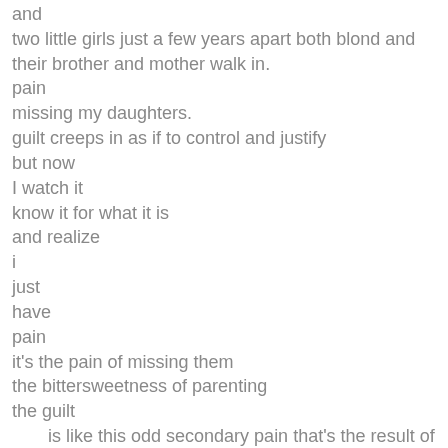and
two little girls just a few years apart both blond and their brother and mother walk in.
pain
missing my daughters.
guilt creeps in as if to control and justify
but now
I watch it
know it for what it is
and realize
i
just
have
pain
it's the pain of missing them
the bittersweetness of parenting
the guilt
    is like this odd secondary pain that's the result of the struggle
sometimes
it's not about doing anything
but